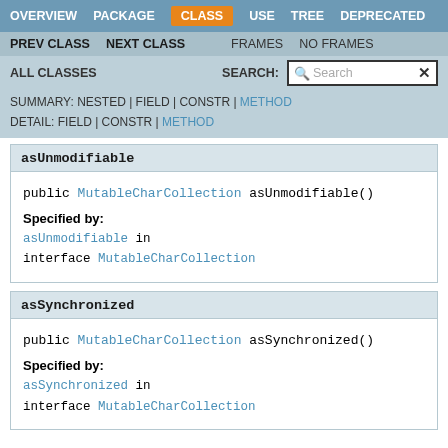OVERVIEW  PACKAGE  CLASS  USE  TREE  DEPRECATED
PREV CLASS  NEXT CLASS  FRAMES  NO FRAMES
ALL CLASSES  SEARCH: [Search]
SUMMARY: NESTED | FIELD | CONSTR | METHOD  DETAIL: FIELD | CONSTR | METHOD
asUnmodifiable
public MutableCharCollection asUnmodifiable()
Specified by:
asUnmodifiable in interface MutableCharCollection
asSynchronized
public MutableCharCollection asSynchronized()
Specified by:
asSynchronized in interface MutableCharCollection